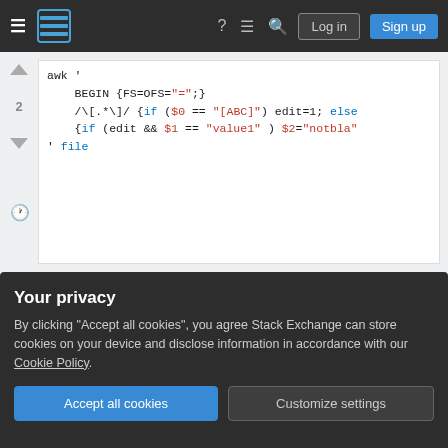Stack Exchange navigation bar with Log in and Sign up buttons
[Figure (screenshot): Code block showing awk script with syntax highlighting: awk ' BEGIN {FS=OFS="=";} /\[.*\]/ {if ($0 == "[ABC]") edit=1; else {if (edit && $1 == "value1" ) $2="notbla" ' file]
Share  answered Oct 7, 2016 at 23:34
Improve this answer  rudimeier  9,339 ● 1 ● 31 ● 42
Follow
Add a comment
another awk solution
Your privacy
By clicking "Accept all cookies", you agree Stack Exchange can store cookies on your device and disclose information in accordance with our Cookie Policy.
Accept all cookies  Customize settings
value1=bla